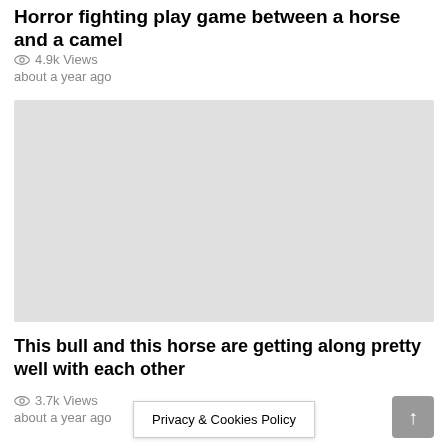Horror fighting play game between a horse and a camel
4.9k Views
about a year ago
[Figure (photo): Gray placeholder thumbnail image for a video]
This bull and this horse are getting along pretty well with each other
3.7k Views
about a year ago
Privacy & Cookies Policy